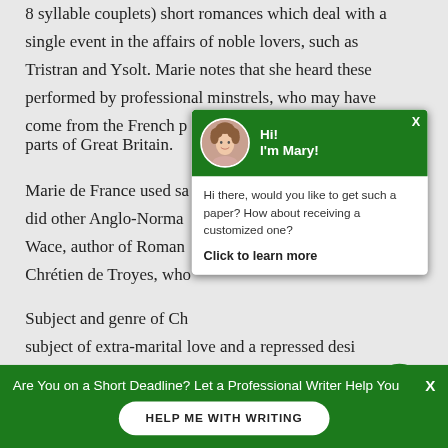8 syllable couplets) short romances which deal with a single event in the affairs of noble lovers, such as Tristran and Ysolt. Marie notes that she heard these performed by professional minstrels, who may have come from the French parts of Great Britain.
Marie de France used sa... did other Anglo-Norman... Wace, author of Roman... Chrétien de Troyes, who...
Subject and genre of Ch... subject of extra-marital love and a repressed desire... personal well-being and happiness. Theme of an...
[Figure (screenshot): Green chat popup with avatar of woman with curly hair. Header says 'Hi! I'm Mary!' with X close button. Body text says 'Hi there, would you like to get such a paper? How about receiving a customized one?' followed by bold 'Click to learn more' link.]
Are You on a Short Deadline? Let a Professional Writer Help You
HELP ME WITH WRITING